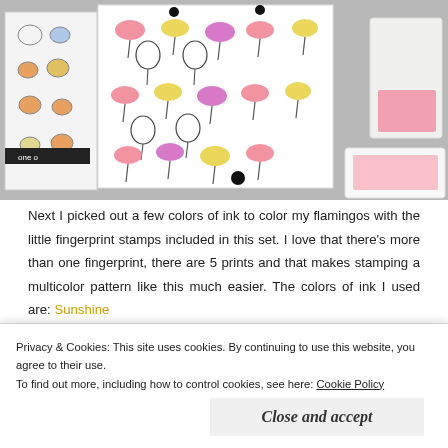[Figure (photo): Photo showing crafting cards: one with colorful flamingo fingerprint stamp pattern (pink, yellow, purple flamingos) and one with small animal drawings, along with ink pads on a gray surface.]
Next I picked out a few colors of ink to color my flamingos with the little fingerprint stamps included in this set. I love that there’s more than one fingerprint, there are 5 prints and that makes stamping a multicolor pattern like this much easier. The colors of ink I used are: Sunshine
Privacy & Cookies: This site uses cookies. By continuing to use this website, you agree to their use.
To find out more, including how to control cookies, see here: Cookie Policy
Close and accept
[Figure (photo): Bottom strip showing partial view of crafting cards with flamingo stamp patterns.]